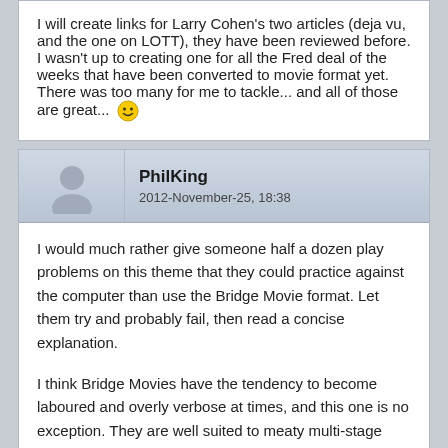I will create links for Larry Cohen's two articles (deja vu, and the one on LOTT), they have been reviewed before. I wasn't up to creating one for all the Fred deal of the weeks that have been converted to movie format yet. There was too many for me to tackle... and all of those are great... 🙂
PhilKing
2012-November-25, 18:38
I would much rather give someone half a dozen play problems on this theme that they could practice against the computer than use the Bridge Movie format. Let them try and probably fail, then read a concise explanation.
I think Bridge Movies have the tendency to become laboured and overly verbose at times, and this one is no exception. They are well suited to meaty multi-stage expert problems - not intermediate problems with one theme dragged out over 97 pages.
And Mike's prose is usually on point with rarely a wasted word - I'm